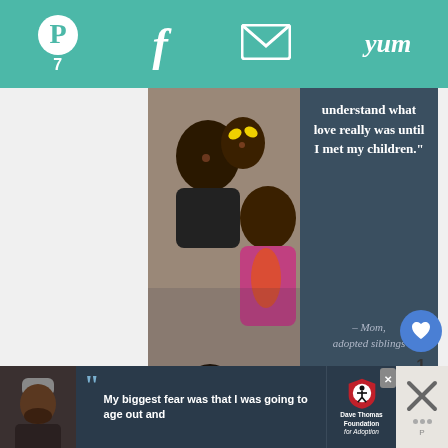Pinterest 7 | Facebook | Email | Yum
[Figure (photo): Advertisement for Dave Thomas Foundation for Adoption showing a Black family (man, woman, and two children) smiling together. Quote text reads: 'understand what love really was until I met my children.' — Mom, adopted siblings. Dave Thomas Foundation for Adoption logo shown.]
[Figure (screenshot): Floating right-side UI buttons: heart/like button with count 1, and share button]
[Figure (photo): Bottom banner advertisement for Dave Thomas Foundation for Adoption with quote: 'My biggest fear was that I was going to age out and' showing man with beanie hat and foundation logo with close X button]